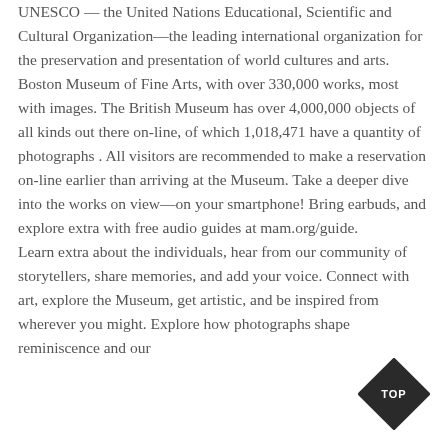UNESCO — the United Nations Educational, Scientific and Cultural Organization—the leading international organization for the preservation and presentation of world cultures and arts. Boston Museum of Fine Arts, with over 330,000 works, most with images. The British Museum has over 4,000,000 objects of all kinds out there on-line, of which 1,018,471 have a quantity of photographs . All visitors are recommended to make a reservation on-line earlier than arriving at the Museum. Take a deeper dive into the works on view—on your smartphone! Bring earbuds, and explore extra with free audio guides at mam.org/guide.
Learn extra about the individuals, hear from our community of storytellers, share memories, and add your voice. Connect with art, explore the Museum, get artistic, and be inspired from wherever you might. Explore how photographs shape reminiscence and our
[Figure (other): Diamond-shaped dark badge with 'TOP' text in white]